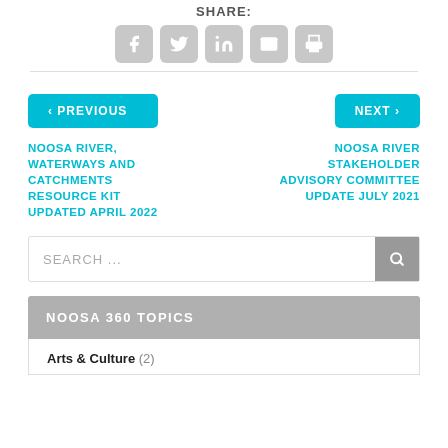SHARE:
[Figure (other): Social share icons: Facebook, Twitter, LinkedIn, Email, Print]
< PREVIOUS
NOOSA RIVER, WATERWAYS AND CATCHMENTS RESOURCE KIT UPDATED APRIL 2022
NEXT >
NOOSA RIVER STAKEHOLDER ADVISORY COMMITTEE UPDATE JULY 2021
SEARCH ...
NOOSA 360 TOPICS
Arts & Culture (2)